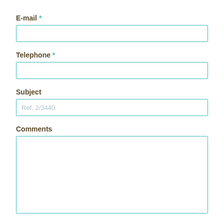E-mail *
[Figure (other): Empty text input field for E-mail]
Telephone *
[Figure (other): Empty text input field for Telephone]
Subject
[Figure (other): Text input field for Subject with placeholder text 'Ref. 2/3440']
Comments
[Figure (other): Large textarea for Comments, empty]